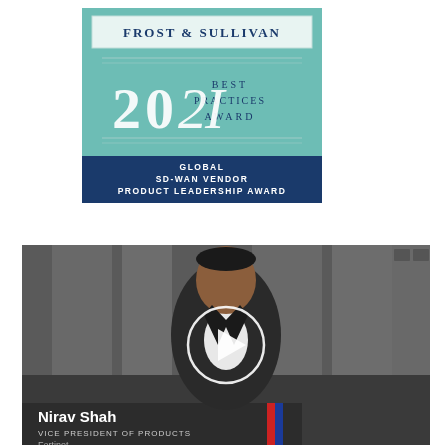[Figure (logo): Frost & Sullivan 2021 Best Practices Award - Global SD-WAN Vendor Product Leadership Award badge]
[Figure (photo): Video thumbnail showing Nirav Shah, Vice President of Products at Fortinet, standing in front of an office background with a play button overlay. Name plate reads 'Nirav Shah / VICE PRESIDENT OF PRODUCTS / Fortinet']